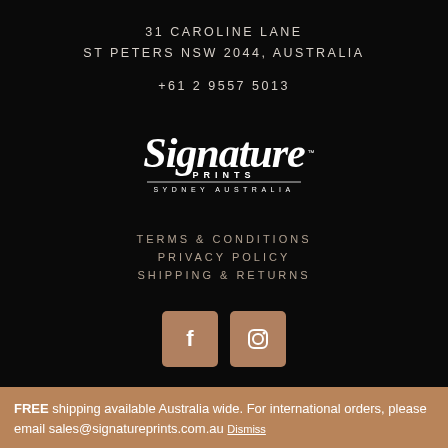31 CAROLINE LANE
ST PETERS NSW 2044, AUSTRALIA
+61 2 9557 5013
[Figure (logo): Signature Prints logo in white script with 'PRINTS' below in small caps and 'SYDNEY AUSTRALIA' below a horizontal line]
TERMS & CONDITIONS
PRIVACY POLICY
SHIPPING & RETURNS
[Figure (other): Facebook and Instagram social media icons in brown/copper colored square buttons]
FREE shipping available Australia wide. For international orders, please email sales@signatureprints.com.au Dismiss